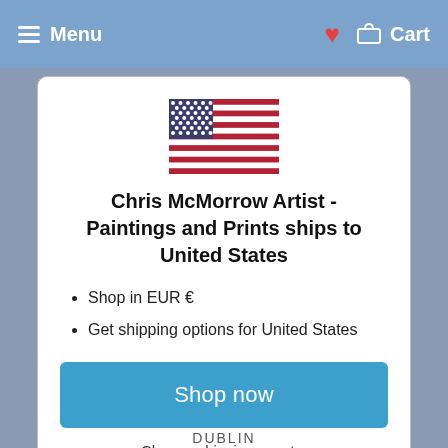Menu  ♥  Cart
[Figure (illustration): US flag icon displayed in center of modal]
Chris McMorrow Artist - Paintings and Prints ships to United States
Shop in EUR €
Get shipping options for United States
Shop now
Change shipping country
DUBLIN